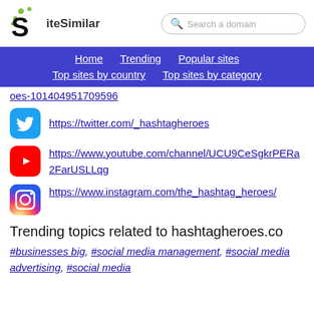SiteSimilar — Search a domain
Home | Trending | Popular sites | Top sites by country | Top sites by category
oes-101404951709596
https://twitter.com/_hashtagheroes
https://www.youtube.com/channel/UCU9CeSgkrPERa2FarUSLLqg
https://www.instagram.com/the_hashtag_heroes/
Trending topics related to hashtagheroes.co
#businesses big, #social media management, #social media advertising, #social media